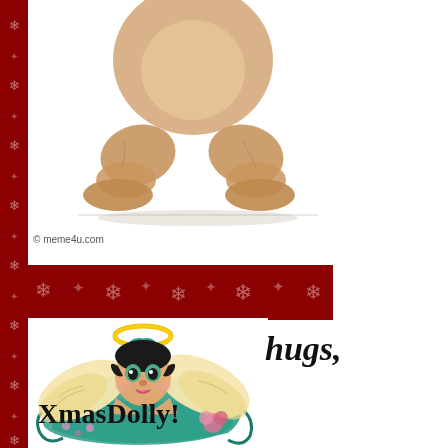[Figure (illustration): Partial view of a teddy bear illustration (lower body/legs visible), drawn with pencil/colored pencil style, with 'meme4u.com' watermark at bottom left. Below the bear image is a red decorative banner with snowflake patterns.]
[Figure (illustration): Cartoon illustration of Betty Boop styled as a Christmas angel with golden halo, white feathered wings, resting on a teal/green cushion with pink roses and small flowers.]
hugs,
XmasDolly!